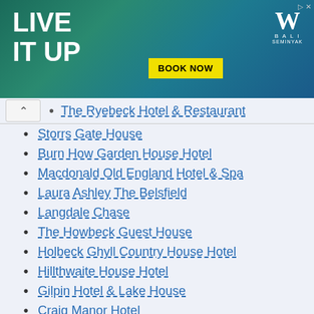[Figure (photo): Advertisement banner for W Hotel Bali with 'LIVE IT UP' text overlay, aerial pool photo, yellow BOOK NOW button, and W Bali logo]
The Ryebeck Hotel & Restaurant
Storrs Gate House
Burn How Garden House Hotel
Macdonald Old England Hotel & Spa
Laura Ashley The Belsfield
Langdale Chase
The Howbeck Guest House
Holbeck Ghyll Country House Hotel
Hillthwaite House Hotel
Gilpin Hotel & Lake House
Craig Manor Hotel
Cedar Manor Hotel and Restaurant
Best Western Burnside Hotel
Beaumont House